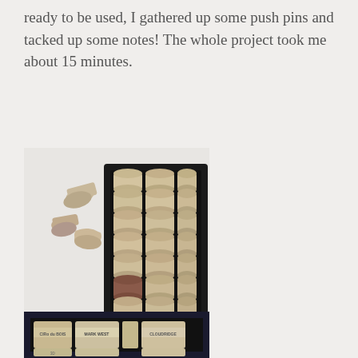ready to be used, I gathered up some push pins and tacked up some notes! The whole project took me about 15 minutes.
[Figure (photo): A blue hot glue gun pressing a cork into a black picture frame filled with wine corks arranged in rows. A few loose corks are visible on a white surface to the left.]
[Figure (photo): Close-up of the bottom of the finished cork board in a black frame, showing wine corks with labels visible including 'Mark West' and other winery names.]